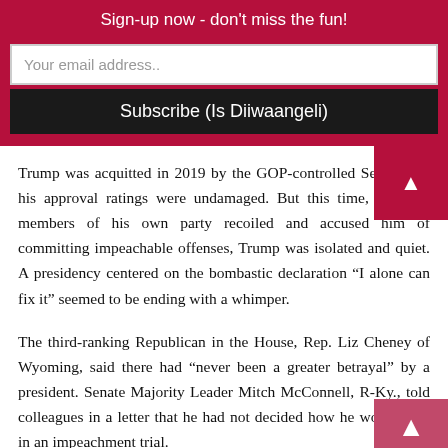Sign-up now - don't miss the fun!
Your email address..
Subscribe (Is Diiwaangeli)
Trump was acquitted in 2019 by the GOP-controlled Senate and his approval ratings were undamaged. But this time, as some members of his own party recoiled and accused him of committing impeachable offenses, Trump was isolated and quiet. A presidency centered on the bombastic declaration “I alone can fix it” seemed to be ending with a whimper.
The third-ranking Republican in the House, Rep. Liz Cheney of Wyoming, said there had “never been a greater betrayal” by a president. Senate Majority Leader Mitch McConnell, R-Ky., told colleagues in a letter that he had not decided how he would vote in an impeachment trial.